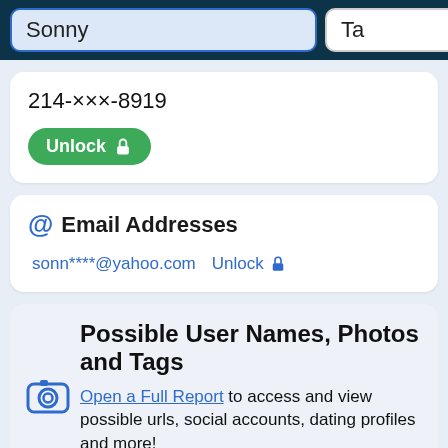[Figure (screenshot): Search bar with two input fields: 'Sonny' (highlighted blue) and 'Ta', plus a green search button with magnifying glass icon]
214-xxx-8919
Unlock 🔒
@ Email Addresses
sonn****@yahoo.com   Unlock 🔒
Possible User Names, Photos and Tags
Open a Full Report to access and view possible urls, social accounts, dating profiles and more!